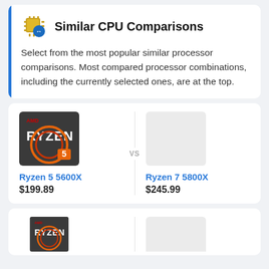Similar CPU Comparisons
Select from the most popular similar processor comparisons. Most compared processor combinations, including the currently selected ones, are at the top.
[Figure (other): CPU comparison card: AMD Ryzen 5 5600X vs Ryzen 7 5800X with images, $199.89 vs $245.99]
[Figure (other): Partial CPU comparison card at the bottom of the page, AMD Ryzen image visible]